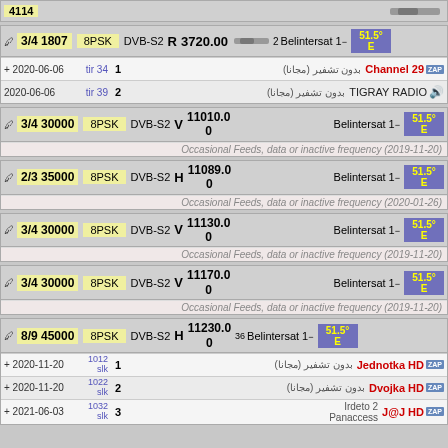| FEC/SR | Mod | Std | Pol | Freq | Sat | Pos |
| --- | --- | --- | --- | --- | --- | --- |
| 3/4 1807 | 8PSK | DVB-S2 | R | 3720.00 | Belintersat 1 | 51.5°E |
| 3/4 30000 | 8PSK | DVB-S2 | V | 11010.00 0 | Belintersat 1 | 51.5°E |
| 2/3 35000 | 8PSK | DVB-S2 | H | 11089.00 0 | Belintersat 1 | 51.5°E |
| 3/4 30000 | 8PSK | DVB-S2 | V | 11130.00 0 | Belintersat 1 | 51.5°E |
| 3/4 30000 | 8PSK | DVB-S2 | V | 11170.00 0 | Belintersat 1 | 51.5°E |
| 8/9 45000 | 8PSK | DVB-S2 | H | 11230.00 0 | Belintersat 1 | 51.5°E |
Channel 29, TIGRAY RADIO, Jednotka HD, Dvojka HD, J@J HD